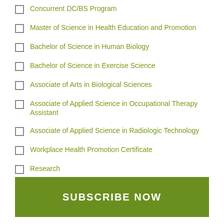Concurrent DC/BS Program
Master of Science in Health Education and Promotion
Bachelor of Science in Human Biology
Bachelor of Science in Exercise Science
Associate of Arts in Biological Sciences
Associate of Applied Science in Occupational Therapy Assistant
Associate of Applied Science in Radiologic Technology
Workplace Health Promotion Certificate
Research
SUBSCRIBE NOW